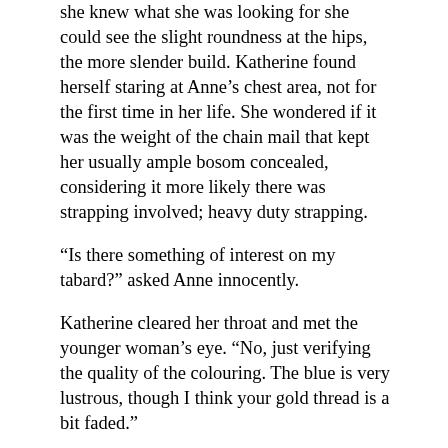she knew what she was looking for she could see the slight roundness at the hips, the more slender build.  Katherine found herself staring at Anne's chest area, not for the first time in her life.  She wondered if it was the weight of the chain mail that kept her usually ample bosom concealed, considering it more likely there was strapping involved; heavy duty strapping.
“Is there something of interest on my tabard?” asked Anne innocently.
Katherine cleared her throat and met the younger woman’s eye.  “No, just verifying the quality of the colouring.  The blue is very lustrous, though I think your gold thread is a bit faded.”
“Where?”
Katherine edged closer, blocking the other’s view with her body as she moved a single finger up onto the cloth.  “Just about here,” she whispered running it slowly back and forth across the leg of the upper griffon.